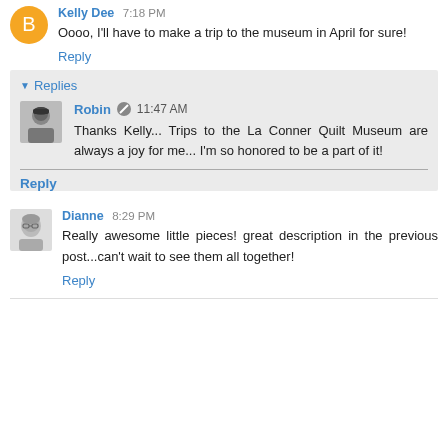Kelly Dee 7:18 PM
Oooo, I'll have to make a trip to the museum in April for sure!
Reply
Replies
Robin 11:47 AM
Thanks Kelly... Trips to the La Conner Quilt Museum are always a joy for me... I'm so honored to be a part of it!
Reply
Dianne 8:29 PM
Really awesome little pieces! great description in the previous post...can't wait to see them all together!
Reply